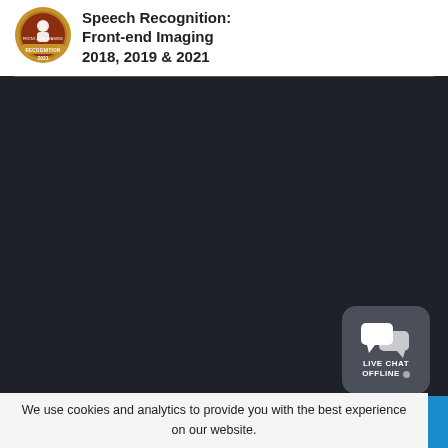[Figure (logo): Award badge: Speech Recognition Front-end Imaging Recognition 2021, circular orange/red badge with person/microphone icon]
Speech Recognition: Front-end Imaging 2018, 2019 & 2021
[Figure (other): Live Chat widget button showing chat bubble icons, text LIVE CHAT OFFLINE with gray dot, dark gray rounded rectangle]
We use cookies and analytics to provide you with the best experience on our website.